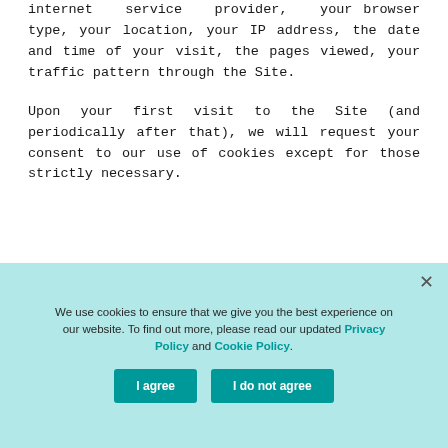internet service provider, your browser type, your location, your IP address, the date and time of your visit, the pages viewed, your traffic pattern through the Site.

Upon your first visit to the Site (and periodically after that), we will request your consent to our use of cookies except for those strictly necessary.
WHAT COOKIES WE USE
We use cookies to ensure that we give you the best experience on our website. To find out more, please read our updated Privacy Policy and Cookie Policy.